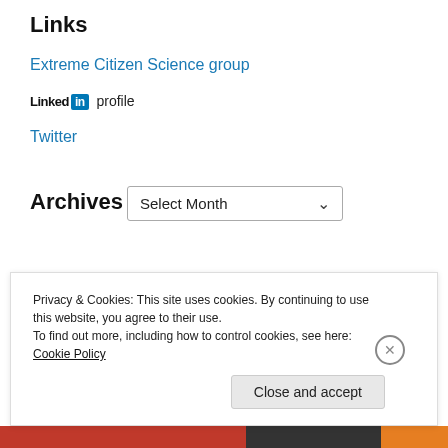Links
Extreme Citizen Science group
Linked in profile
Twitter
Archives
Select Month
Privacy & Cookies: This site uses cookies. By continuing to use this website, you agree to their use.
To find out more, including how to control cookies, see here: Cookie Policy
Close and accept